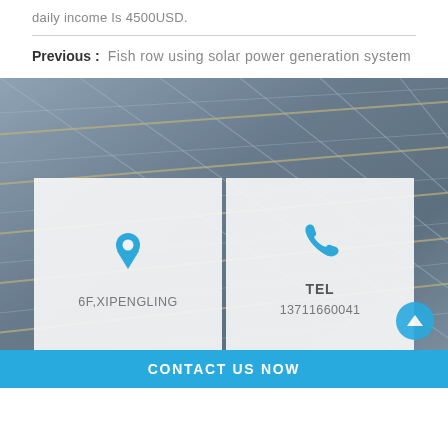daily income Is 4500USD.
Previous : Fish row using solar power generation system
[Figure (photo): Solar panels background image]
6F,XIPENGLING
TEL
13711660041
CONTACT US NOW